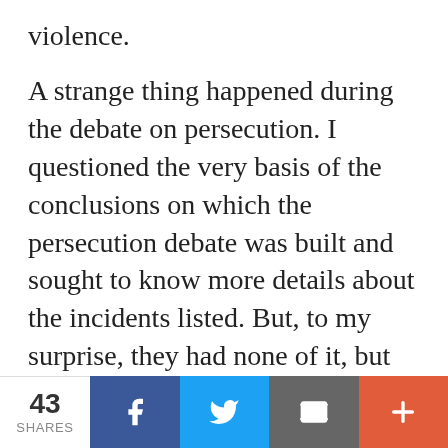violence.
A strange thing happened during the debate on persecution. I questioned the very basis of the conclusions on which the persecution debate was built and sought to know more details about the incidents listed. But, to my surprise, they had none of it, but instead, they wanted me to believe them to be true, as the supposed incidents were recorded by the heads of dioceses (comprising of three revenue districts). In short, the debate was to be
43 SHARES | Facebook | Twitter | Email | More